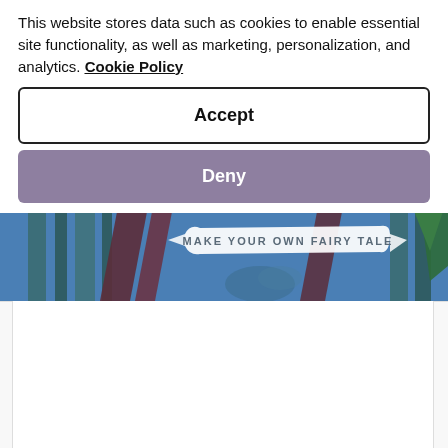This website stores data such as cookies to enable essential site functionality, as well as marketing, personalization, and analytics. Cookie Policy
Accept
Deny
[Figure (screenshot): Website banner showing illustrated artwork with text banner reading 'MAKE YOUR OWN FAIRY TALE' on a decorative ribbon, with colorful stylized forest/abstract art in blue, teal, dark red, and green]